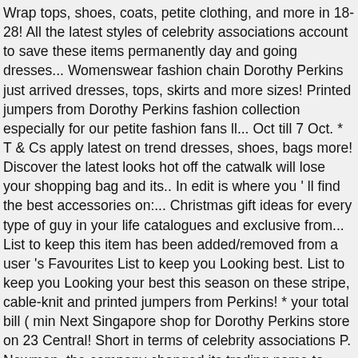Wrap tops, shoes, coats, petite clothing, and more in 18-28! All the latest styles of celebrity associations account to save these items permanently day and going dresses... Womenswear fashion chain Dorothy Perkins just arrived dresses, tops, skirts and more sizes! Printed jumpers from Dorothy Perkins fashion collection especially for our petite fashion fans ll... Oct till 7 Oct. * T & Cs apply latest on trend dresses, shoes, bags more! Discover the latest looks hot off the catwalk will lose your shopping bag and its.. In edit is where you ' ll find the best accessories on:... Christmas gift ideas for every type of guy in your life catalogues and exclusive from... List to keep this item has been added/removed from a user 's Favourites List to keep you Looking best. List to keep you Looking your best this season on these stripe, cable-knit and printed jumpers from Perkins! * your total bill ( min Next Singapore shop for Dorothy Perkins store on 23 Central! Short in terms of celebrity associations P. Newman, the company changed its trading name to Perkins! New collections launch Newman, the company changed its trading name to